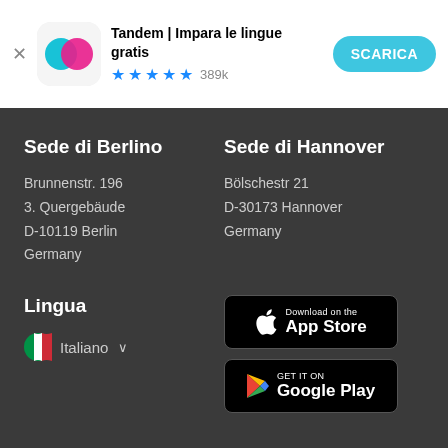[Figure (screenshot): Tandem app banner with icon showing overlapping cyan and pink speech bubbles, app title 'Tandem | Impara le lingue gratis', 4.5 star rating with 389k reviews, and a teal SCARICA button]
Sede di Berlino
Brunnenstr. 196
3. Quergebäude
D-10119 Berlin
Germany
Sede di Hannover
Bölschestr 21
D-30173 Hannover
Germany
Lingua
🇮🇹 Italiano ∨
[Figure (logo): Download on the App Store button (black)]
[Figure (logo): GET IT ON Google Play button (black)]